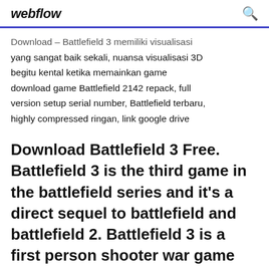webflow
Download – Battlefield 3 memiliki visualisasi yang sangat baik sekali, nuansa visualisasi 3D begitu kental ketika memainkan game download game Battlefield 2142 repack, full version setup serial number, Battlefield terbaru, highly compressed ringan, link google drive
Download Battlefield 3 Free. Battlefield 3 is the third game in the battlefield series and it's a direct sequel to battlefield and battlefield 2. Battlefield 3 is a first person shooter war game developed and published by EA.